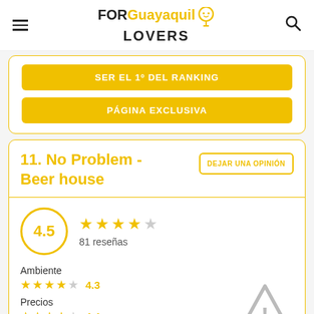[Figure (logo): FOR Guayaquil LOVERS logo with location pin icon]
SER EL 1º DEL RANKING
PÁGINA EXCLUSIVA
11. No Problem - Beer house
DEJAR UNA OPINIÓN
4.5
81 reseñas
Ambiente
4.3
Precios
4.4
[Figure (illustration): Warning triangle icon with exclamation mark in grey]